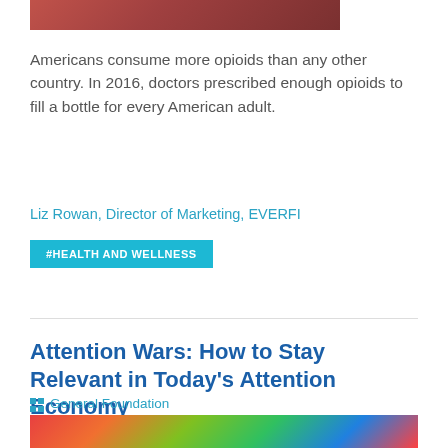[Figure (photo): Partial top of a photo showing a person (reddish/brown tones), cropped at top of page]
Americans consume more opioids than any other country. In 2016, doctors prescribed enough opioids to fill a bottle for every American adult.
Liz Rowan, Director of Marketing, EVERFI
#HEALTH AND WELLNESS
Attention Wars: How to Stay Relevant in Today's Attention Economy
General Foundation
October 18, 2017
[Figure (photo): Colorful abstract/artistic image with red, green, yellow splashes, partially visible at bottom of page]